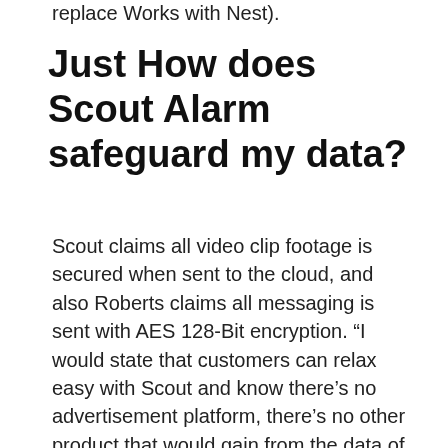replace Works with Nest).
Just How does Scout Alarm safeguard my data?
Scout claims all video clip footage is secured when sent to the cloud, and also Roberts claims all messaging is sent with AES 128-Bit encryption. “I would state that customers can relax easy with Scout and know there’s no advertisement platform, there’s no other product that would gain from the data of what’s taking place inside your house, as well as we’re extremely sensitive about that,” stated Roberts. Due to the fact that Scout is so easily integrated with various other gadgets, it’s still useful to check out the privacy policy as well as terms and also